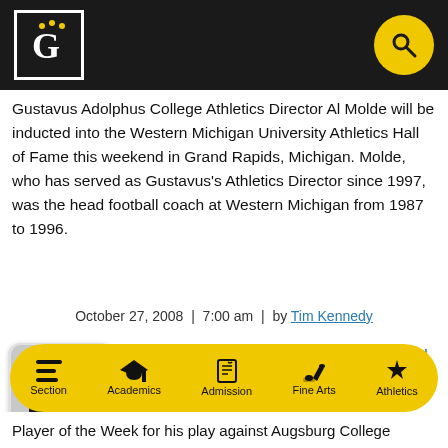[Figure (logo): Gustavus Adolphus College logo with 'G' and crown marks in white on black background, inside white border square]
Gustavus Adolphus College Athletics Director Al Molde will be inducted into the Western Michigan University Athletics Hall of Fame this weekend in Grand Rapids, Michigan. Molde, who has served as Gustavus's Athletics Director since 1997, was the head football coach at Western Michigan from 1987 to 1996.
October 27, 2008  |  7:00 am  |  by Tim Kennedy
Running Back Ray Wilson Named MIAC Offensive Player of the Week
[Figure (photo): Headshot of Running Back Ray Wilson in formal attire, on light gray rounded-corner background]
Player of the Week for his play against Augsburg College